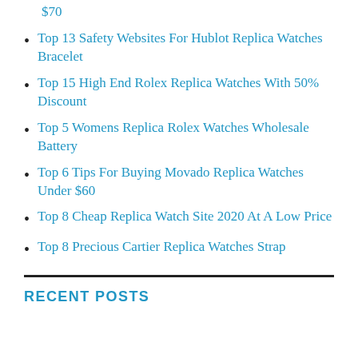$70
Top 13 Safety Websites For Hublot Replica Watches Bracelet
Top 15 High End Rolex Replica Watches With 50% Discount
Top 5 Womens Replica Rolex Watches Wholesale Battery
Top 6 Tips For Buying Movado Replica Watches Under $60
Top 8 Cheap Replica Watch Site 2020 At A Low Price
Top 8 Precious Cartier Replica Watches Strap
RECENT POSTS